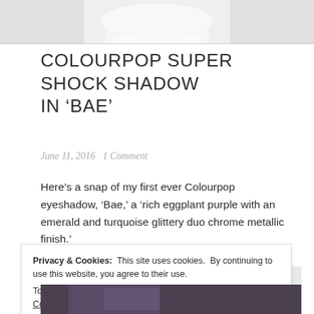[Figure (photo): Top portion of a white jar/container product photo, cropped at top of page]
COLOURPOP SUPER SHOCK SHADOW IN ‘BAE’
June 11, 2016   1 Comment
Here’s a snap of my first ever Colourpop eyeshadow, ‘Bae,’ a ‘rich eggplant purple with an emerald and turquoise glittery duo chrome metallic finish.’
[Figure (photo): Light grey/blue background image partially visible behind cookie notice]
Privacy & Cookies:  This site uses cookies.  By continuing to use this website, you agree to their use.
To find out more, including how to control cookies, see here: Cookie Policy
Close and accept
[Figure (photo): Bottom portion showing dark purple/blue glittery eyeshadow product]